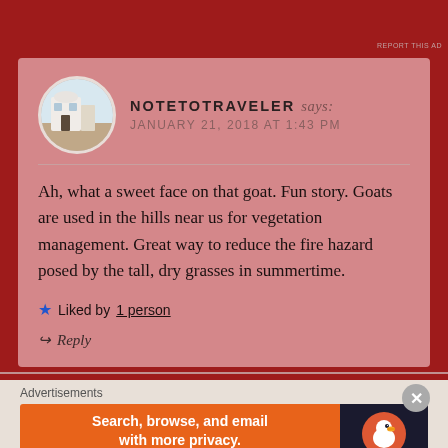REPORT THIS AD
NOTETOTRAVELER says: JANUARY 21, 2018 AT 1:43 PM
Ah, what a sweet face on that goat. Fun story. Goats are used in the hills near us for vegetation management. Great way to reduce the fire hazard posed by the tall, dry grasses in summertime.
★ Liked by 1 person
↪ Reply
Advertisements
Search, browse, and email with more privacy. All in One Free App
DuckDuckGo
REPORT THIS AD